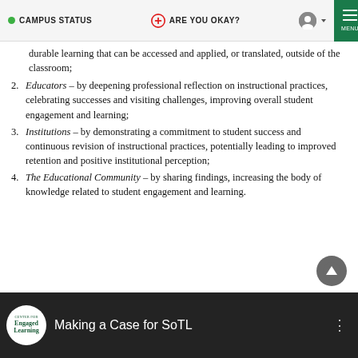CAMPUS STATUS | ARE YOU OKAY? | MENU
durable learning that can be accessed and applied, or translated, outside of the classroom;
Educators – by deepening professional reflection on instructional practices, celebrating successes and visiting challenges, improving overall student engagement and learning;
Institutions – by demonstrating a commitment to student success and continuous revision of instructional practices, potentially leading to improved retention and positive institutional perception;
The Educational Community – by sharing findings, increasing the body of knowledge related to student engagement and learning.
[Figure (screenshot): Video thumbnail bar showing 'Making a Case for SoTL' with Center for Engaged Learning logo on dark background]